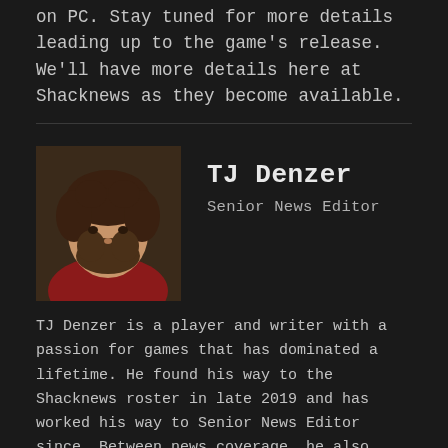on PC. Stay tuned for more details leading up to the game's release. We'll have more details here at Shacknews as they become available.
[Figure (photo): Author photo of TJ Denzer, a man with curly hair and beard wearing a red shirt]
TJ Denzer
Senior News Editor
TJ Denzer is a player and writer with a passion for games that has dominated a lifetime. He found his way to the Shacknews roster in late 2019 and has worked his way to Senior News Editor since. Between news coverage, he also aides notably in livestream projects like the indie game-focused Indie-licious, the Shacknews Stimulus Games, and the Shacknews Dump. You can reach him at tj.denzer@shacknews.com and also find him on Twitter @JohnnyChugs.
Filed Under
NEWS
FREEDOM! GAMES
FREEDOM GAMES SHOWCASE